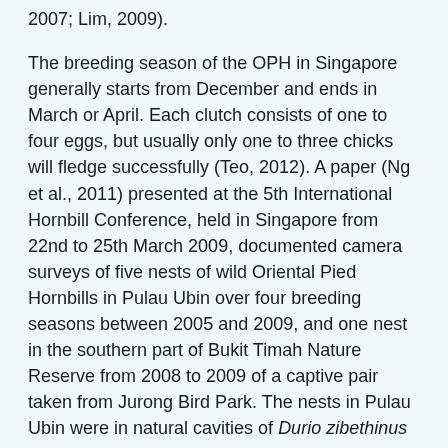2007; Lim, 2009).
The breeding season of the OPH in Singapore generally starts from December and ends in March or April. Each clutch consists of one to four eggs, but usually only one to three chicks will fledge successfully (Teo, 2012). A paper (Ng et al., 2011) presented at the 5th International Hornbill Conference, held in Singapore from 22nd to 25th March 2009, documented camera surveys of five nests of wild Oriental Pied Hornbills in Pulau Ubin over four breeding seasons between 2005 and 2009, and one nest in the southern part of Bukit Timah Nature Reserve from 2008 to 2009 of a captive pair taken from Jurong Bird Park. The nests in Pulau Ubin were in natural cavities of Durio zibethinus trees and in artificial nest boxes, and 14 breeding cycles were recorded over four years. In the southern part of Bukit Timah Nature Reserve, two breeding were observed. Out of the 16 cycles, a total of 51 chicks hatched. The observations showed that the mean number of eggs laid in the wild was 3.3 and number of chicks fledged was 1.8 giving an average fledging success of 55%. Most of the chicks that were lost were due to cannibalism and infanticide.
In order to encourage wild hornbills to breed, more than 20